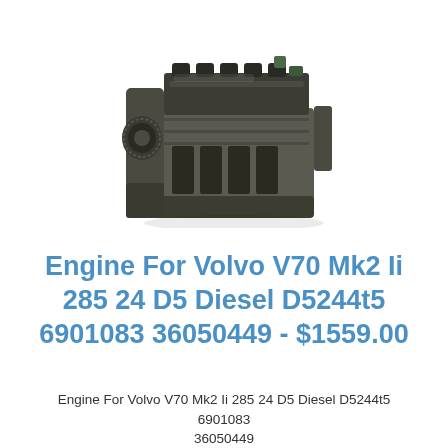[Figure (photo): Photograph of a used Volvo diesel engine block (D5244t5), showing a dark metal engine assembly with visible cylinder head, timing chain area, and engine block components, photographed at a slight angle against a white background.]
Engine For Volvo V70 Mk2 Ii 285 24 D5 Diesel D5244t5 6901083 36050449 - $1559.00
Engine For Volvo V70 Mk2 Ii 285 24 D5 Diesel D5244t5 6901083 36050449